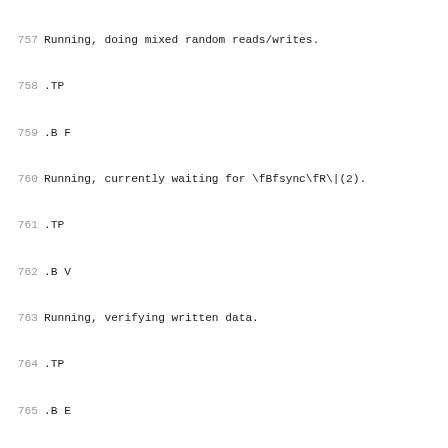757 Running, doing mixed random reads/writes.
758 .TP
759 .B F
760 Running, currently waiting for \fBfsync\fR\|(2).
761 .TP
762 .B V
763 Running, verifying written data.
764 .TP
765 .B E
766 Exited, not reaped by main thread.
767 .TP
768 .B \-
769 Exited, thread reaped.
770 .RE
771 .PD
772 .P
773 The second set of brackets shows the estimated completi
774 the current group.  The third set shows the read and wr
775 respectively. Finally, the estimated run time of the jo
776 .P
777 When \fBfio\fR completes (or is interrupted by Ctrl-C),
778 for each thread, each group of threads, and each disk,
779 .P
780 Per-thread statistics first show the threads client num
781 error code.  The remaining figures are as follows:
782 .RS
783 .TP
784 .B io
785 Number of megabytes of I/O performed.
786 .TP
787 .B bw
788 Average data rate (bandwidth).
789 .TP